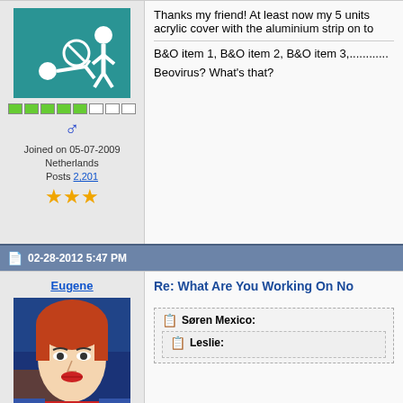[Figure (illustration): User avatar: teal background with white icon of person lying down and standing figure with no symbol]
Joined on 05-07-2009
Netherlands
Posts 2,201
Thanks my friend! At least now my 5 units acrylic cover with the aluminium strip on to
B&O item 1, B&O item 2, B&O item 3,............
Beovirus? What's that?
02-28-2012 5:47 PM
Eugene
[Figure (illustration): User avatar: painting-style portrait of a woman with red hair and red lips]
Joined on 12-17-2008
Posts 589
Re: What Are You Working On No
Søren Mexico:
Leslie: